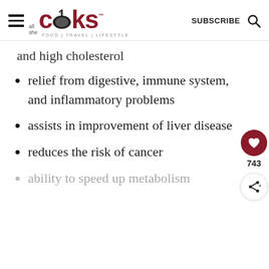all she cooks — FOOD | TRAVEL | LIFESTYLE — SUBSCRIBE
and high cholesterol
relief from digestive, immune system, and inflammatory problems
assists in improvement of liver disease
reduces the risk of cancer
ability to speed up metabolism